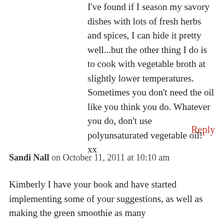I've found if I season my savory dishes with lots of fresh herbs and spices, I can hide it pretty well...but the other thing I do is to cook with vegetable broth at slightly lower temperatures. Sometimes you don't need the oil like you think you do. Whatever you do, don't use polyunsaturated vegetable oil!
xx
Reply
Sandi Nall on October 11, 2011 at 10:10 am
Kimberly I have your book and have started implementing some of your suggestions, as well as making the green smoothie as many